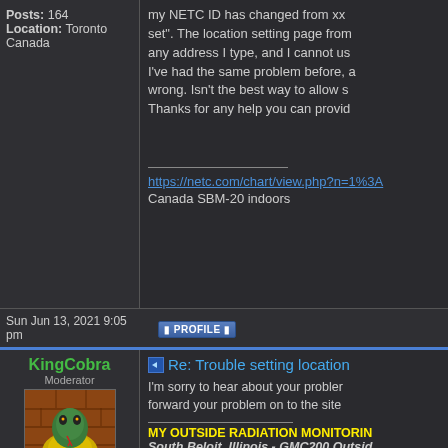Posts: 164
Location: Toronto Canada
my NETC ID has changed from xx... set". The location setting page from... any address I type, and I cannot us... I've had the same problem before, a... wrong. Isn't the best way to allow s... Thanks for any help you can provid...
https://netc.com/chart/view.php?n=1%3A...
Canada SBM-20 indoors
Sun Jun 13, 2021 9:05 pm
PROFILE
KingCobra
Moderator
[Figure (illustration): Forum avatar showing a cobra snake cartoon character with yellow and green colors on a brick background]
Joined: Mon Jan 28, 2013 7:40 pm
Re: Trouble setting location
I'm sorry to hear about your problem... forward your problem on to the site...
MY OUTSIDE RADIATION MONITORIN...
South Beloit, Illinois - GMC200 Outsid... level, facing West.